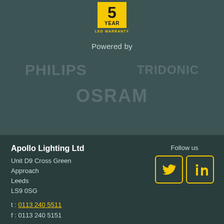[Figure (logo): 5 YEAR LED WARRANTY badge with yellow background for the number 5 and YEAR text, with LED WARRANTY text below in yellow]
Powered by
[Figure (logo): PHILIPS brand logo text in muted teal/gray]
[Figure (logo): TRIDONIC brand logo text in muted teal/gray]
[Figure (logo): OSRAM brand logo text in muted teal/gray]
Apollo Lighting Ltd
Unit D9 Cross Green Approach
Leeds
LS9 0SG
t : 0113 240 5511
f : 0113 240 5151
Follow us
[Figure (logo): Twitter and LinkedIn social media icons in yellow outlined boxes]